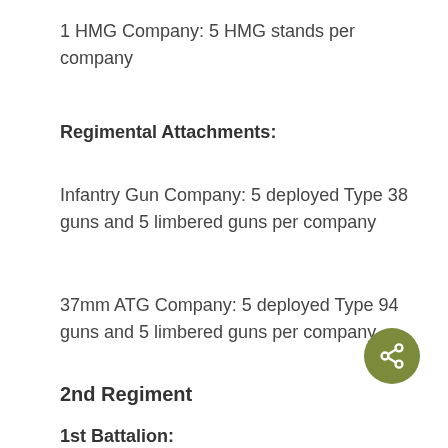1 HMG Company: 5 HMG stands per company
Regimental Attachments:
Infantry Gun Company: 5 deployed Type 38 guns and 5 limbered guns per company
37mm ATG Company: 5 deployed Type 94 guns and 5 limbered guns per company
2nd Regiment
1st Battalion: